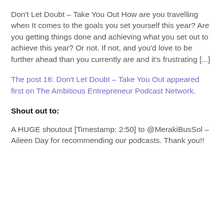Don't Let Doubt – Take You Out How are you travelling when It comes to the goals you set yourself this year? Are you getting things done and achieving what you set out to achieve this year? Or not. If not, and you'd love to be further ahead than you currently are and it's frustrating [...]
The post 16: Don't Let Doubt – Take You Out appeared first on The Ambitious Entrepreneur Podcast Network.
Shout out to:
A HUGE shoutout [Timestamp: 2:50] to @MerakiBusSol – Aileen Day for recommending our podcasts. Thank you!!